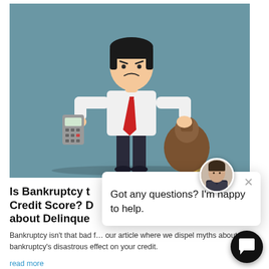[Figure (illustration): Cartoon illustration of a worried businessman in a white shirt and red tie, holding a calculator in one hand and a depleted money bag with coins spilled on the ground in his other hand, set against a teal/blue-grey background.]
Is Bankruptcy t… Credit Score? D… about Delinque…
Bankruptcy isn't that bad f… our article where we dispel myths about bankruptcy's disastrous effect on your credit.
read more
[Figure (photo): Small circular avatar photo of a man in a suit, used as chat agent avatar.]
Got any questions? I'm happy to help.
[Figure (illustration): Black circular chat launcher button with white speech bubble icon in bottom-right corner.]